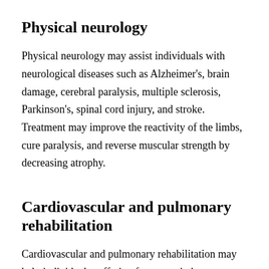Physical neurology
Physical neurology may assist individuals with neurological diseases such as Alzheimer's, brain damage, cerebral paralysis, multiple sclerosis, Parkinson's, spinal cord injury, and stroke. Treatment may improve the reactivity of the limbs, cure paralysis, and reverse muscular strength by decreasing atrophy.
Cardiovascular and pulmonary rehabilitation
Cardiovascular and pulmonary rehabilitation may help individuals suffering from certain heart diseases and